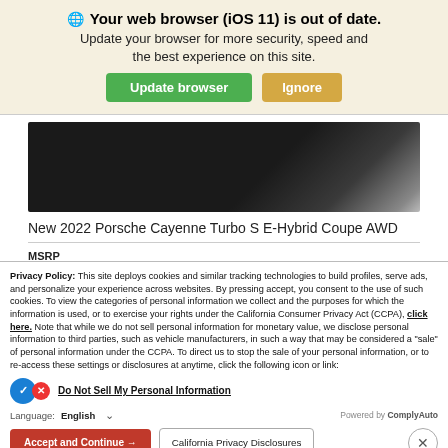Your web browser (iOS 11) is out of date. Update your browser for more security, speed and the best experience on this site.
[Figure (screenshot): Dark automotive image showing partial view of a Porsche Cayenne — dark background with diagonal light stripe]
New 2022 Porsche Cayenne Turbo S E-Hybrid Coupe AWD
MSRP
Privacy Policy: This site deploys cookies and similar tracking technologies to build profiles, serve ads, and personalize your experience across websites. By pressing accept, you consent to the use of such cookies. To view the categories of personal information we collect and the purposes for which the information is used, or to exercise your rights under the California Consumer Privacy Act (CCPA), click here. Note that while we do not sell personal information for monetary value, we disclose personal information to third parties, such as vehicle manufacturers, in such a way that may be considered a "sale" of personal information under the CCPA. To direct us to stop the sale of your personal information, or to re-access these settings or disclosures at anytime, click the following icon or link:
Do Not Sell My Personal Information
Language: English
Powered by ComplyAuto
Accept and Continue → California Privacy Disclosures